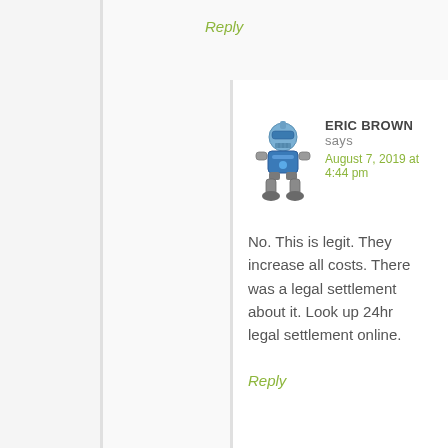Reply
[Figure (illustration): Robot avatar icon for user Eric Brown — a small blue robot with grey legs in a wide stance]
ERIC BROWN says
August 7, 2019 at 4:44 pm
No. This is legit. They increase all costs. There was a legal settlement about it. Look up 24hr legal settlement online.
Reply